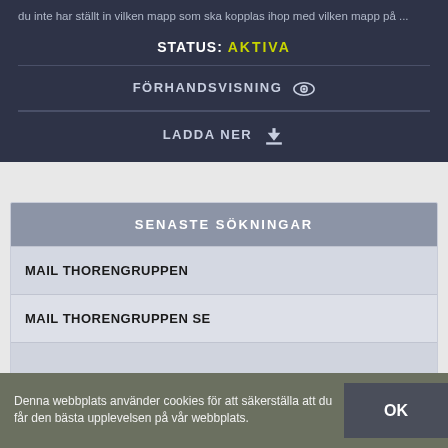du inte har ställt in vilken mapp som ska kopplas ihop med vilken mapp på ...
STATUS: AKTIVA
FÖRHANDSVISNING
LADDA NER
SENASTE SÖKNINGAR
MAIL THORENGRUPPEN
MAIL THORENGRUPPEN SE
Denna webbplats använder cookies för att säkerställa att du får den bästa upplevelsen på vår webbplats.